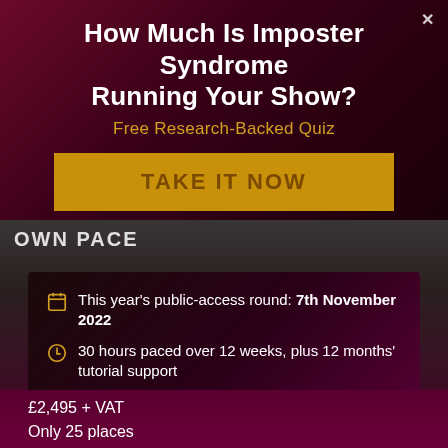How Much Is Imposter Syndrome Running Your Show?
Free Research-Backed Quiz
TAKE IT NOW
OWN PACE
This year's public-access round: 7th November 2022
30 hours paced over 12 weeks, plus 12 months' tutorial support
£
£2,495 + VAT
Only 25 places